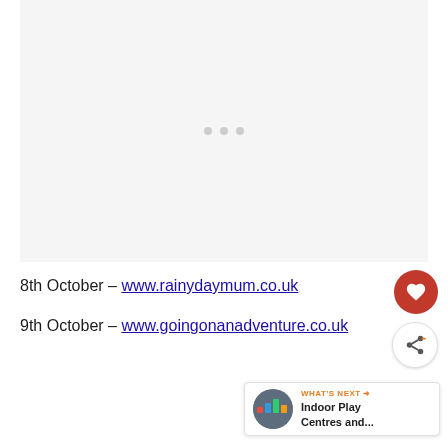[Figure (other): Loading image placeholder with three grey dots on light grey background]
8th October – www.rainydaymum.co.uk
9th October – www.goingonanadventure.co.uk